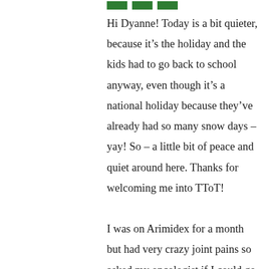[Figure (illustration): Three green rectangular bars/stripes arranged horizontally at the top]
Hi Dyanne! Today is a bit quieter, because it's the holiday and the kids had to go back to school anyway, even though it's a national holiday because they've already had so many snow days – yay! So – a little bit of peace and quiet around here. Thanks for welcoming me into TToT!

I was on Arimidex for a month but had very crazy joint pains so asked my oncologist if I could go back to